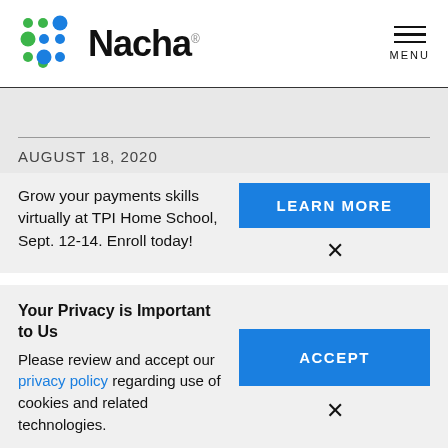[Figure (logo): Nacha logo with colored dot pattern (green and blue dots) and the word Nacha in bold black text]
MENU
AUGUST 18, 2020
Grow your payments skills virtually at TPI Home School, Sept. 12-14. Enroll today!
LEARN MORE
×
Your Privacy is Important to Us
Please review and accept our privacy policy regarding use of cookies and related technologies.
ACCEPT
×